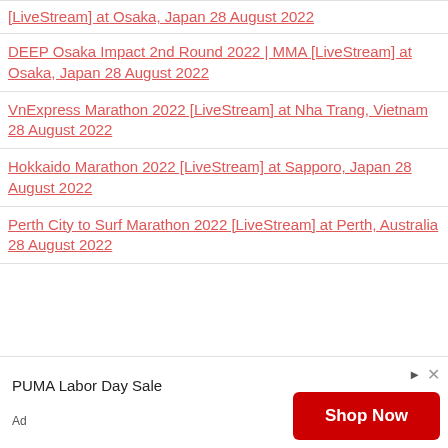[LiveStream] at Osaka, Japan 28 August 2022
DEEP Osaka Impact 2nd Round 2022 | MMA [LiveStream] at Osaka, Japan 28 August 2022
VnExpress Marathon 2022 [LiveStream] at Nha Trang, Vietnam 28 August 2022
Hokkaido Marathon 2022 [LiveStream] at Sapporo, Japan 28 August 2022
Perth City to Surf Marathon 2022 [LiveStream] at Perth, Australia 28 August 2022
[Figure (infographic): PUMA Labor Day Sale advertisement banner with Shop Now button]